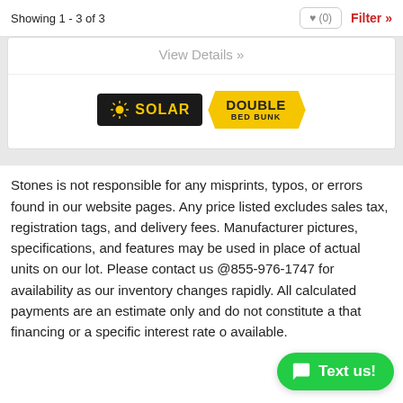Showing 1 - 3 of 3
[Figure (other): View Details link button inside a white card]
[Figure (logo): Solar badge (black background, yellow sun icon and SOLAR text) and Double Bed Bunk badge (yellow pennant shape)]
Stones is not responsible for any misprints, typos, or errors found in our website pages. Any price listed excludes sales tax, registration tags, and delivery fees. Manufacturer pictures, specifications, and features may be used in place of actual units on our lot. Please contact us @855-976-1747 for availability as our inventory changes rapidly. All calculated payments are an estimate only and do not constitute a that financing or a specific interest rate o available.